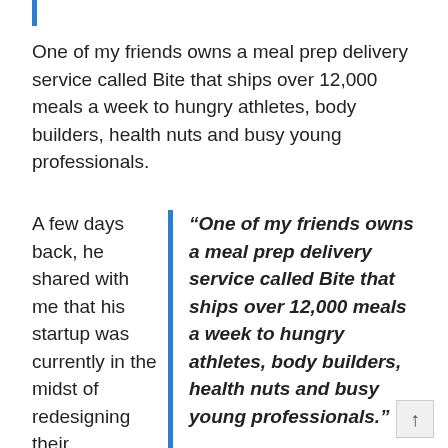One of my friends owns a meal prep delivery service called Bite that ships over 12,000 meals a week to hungry athletes, body builders, health nuts and busy young professionals.
A few days back, he shared with me that his startup was currently in the midst of redesigning their
“One of my friends owns a meal prep delivery service called Bite that ships over 12,000 meals a week to hungry athletes, body builders, health nuts and busy young professionals.”